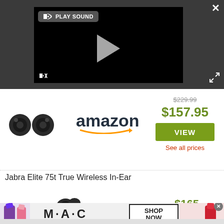[Figure (screenshot): Video player with dark background showing PLAY SOUND button, play triangle, mute icon, close X button, and expand icon]
[Figure (photo): Jabra Elite 75t True Wireless earbuds product image (black earbuds)]
[Figure (logo): Amazon logo with orange smile arrow]
$229.99
$157.95
VIEW
See all prices
Jabra Elite 75t True Wireless In-Ear
[Figure (photo): Jabra earbuds small second product image]
$165
[Figure (screenshot): M·A·C cosmetics advertisement banner with lipstick images, M·A·C logo, and SHOP NOW button]
SHOP NOW